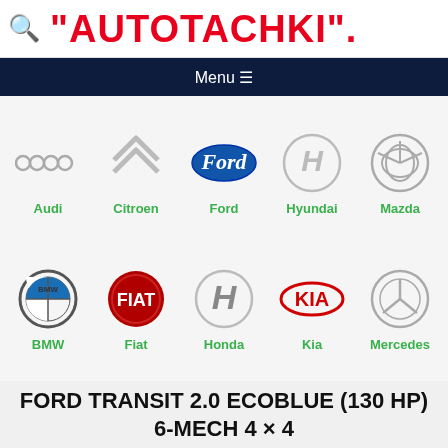"AUTOTACHKI".
Menu ☰
[Figure (logo): Grid of 10 car brand logos: Audi, Citroen, Ford, Hyundai, Mazda (top row); BMW, Fiat, Honda, Kia, Mercedes (bottom row), each with brand name in green below]
FORD TRANSIT 2.0 ECOBLUE (130 HP) 6-MECH 4 × 4